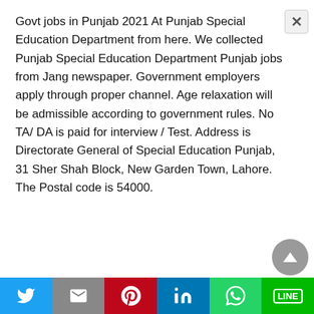Govt jobs in Punjab 2021 At Punjab Special Education Department from here. We collected Punjab Special Education Department Punjab jobs from Jang newspaper. Government employers apply through proper channel. Age relaxation will be admissible according to government rules. No TA/ DA is paid for interview / Test. Address is Directorate General of Special Education Punjab, 31 Sher Shah Block, New Garden Town, Lahore. The Postal code is 54000.